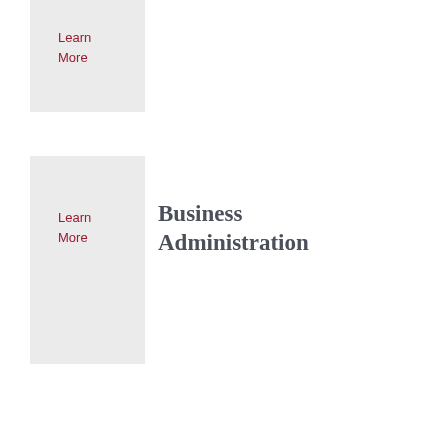Learn
More
Business Administration
Learn
More